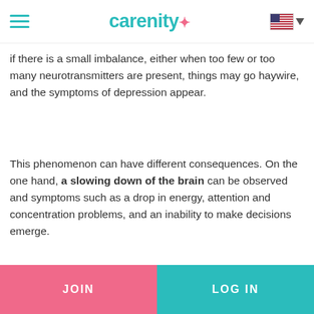carenity (logo with hamburger menu and US flag)
if there is a small imbalance, either when too few or too many neurotransmitters are present, things may go haywire, and the symptoms of depression appear.
This phenomenon can have different consequences. On the one hand, a slowing down of the brain can be observed and symptoms such as a drop in energy, attention and concentration problems, and an inability to make decisions emerge.
On the other hand, activity is accelerated in one [JOIN] wh[LOG IN] inso... ...nxio... ...nd